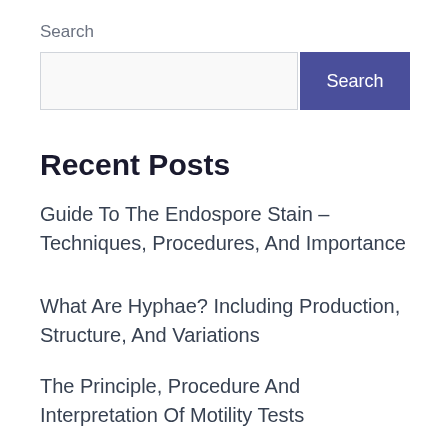Search
[Figure (screenshot): Search input field (text box) and a purple Search button]
Recent Posts
Guide To The Endospore Stain – Techniques, Procedures, And Importance
What Are Hyphae? Including Production, Structure, And Variations
The Principle, Procedure And Interpretation Of Motility Tests